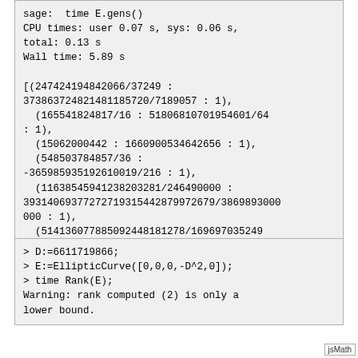sage:  time E.gens()
CPU times: user 0.07 s, sys: 0.06 s,
total: 0.13 s
Wall time: 5.89 s

[(247424194842066/37249 : 373863724821481185720/7189057 : 1),
  (165541824817/16 : 51806810701954601/64 : 1),
  (15062000442 : 1660900534642656 : 1),
  (548503784857/36 : -365985935192610019/216 : 1),
  (11638545941238203281/246490000 : 39314069377272719315442879972679/3869893000000 : 1),
  (514136077885092448181278/169697035249 : -368651568597676351513664298941602072/6990550057915788807 : 1)]
> D:=6611719866;
> E:=EllipticCurve([0,0,0,-D^2,0]);
> time Rank(E);
Warning: rank computed (2) is only a
lower bound.